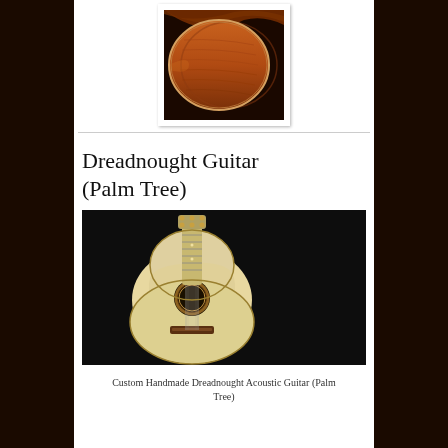[Figure (photo): Close-up photo of guitar body showing warm reddish-brown wood grain with curved bout, light border frame]
Dreadnought Guitar (Palm Tree)
[Figure (photo): Full view of a custom handmade dreadnought acoustic guitar with light spruce top, decorative palm tree inlay on rosette, and fretboard with ornate inlays, against black background]
Custom Handmade Dreadnought Acoustic Guitar (Palm Tree)